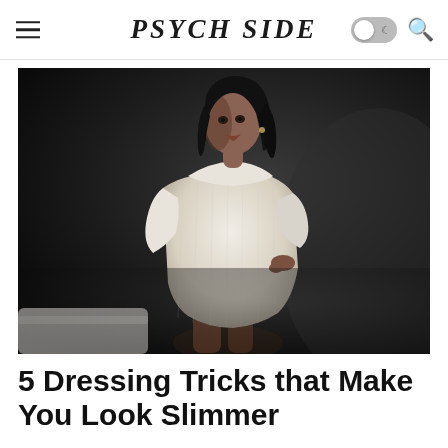PSYCH SIDE
[Figure (photo): A young woman wearing a cream/white knit cowl-neck sweater dress, posed against a dark background, with a light-colored couch or bench visible at lower left. Black and white/moody photography style.]
5 Dressing Tricks that Make You Look Slimmer